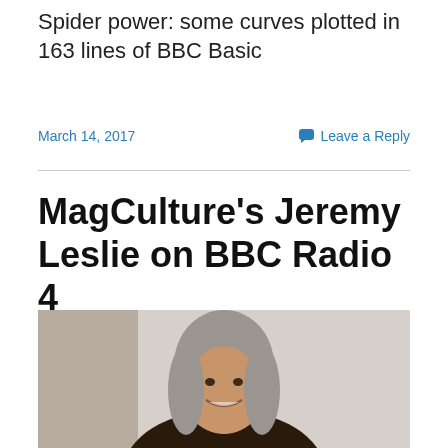Spider power: some curves plotted in 163 lines of BBC Basic
March 14, 2017
Leave a Reply
MagCulture's Jeremy Leslie on BBC Radio 4
[Figure (photo): Portrait photo of Jeremy Leslie, a middle-aged man with grey shoulder-length hair, smiling, photographed indoors against a light wall.]